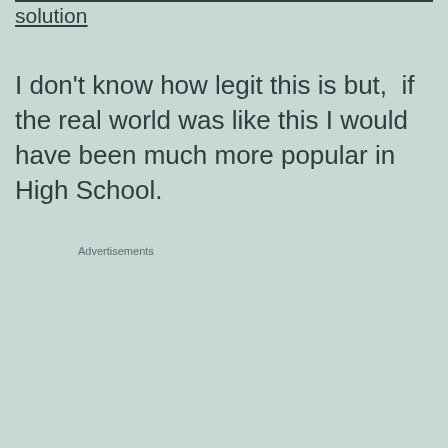solution
I don't know how legit this is but,  if the real world was like this I would have been much more popular in High School.
Advertisements